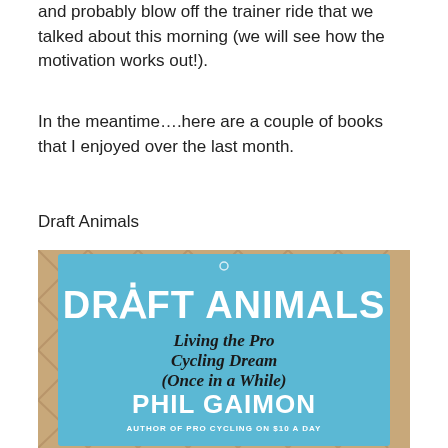and probably blow off the trainer ride that we talked about this morning (we will see how the motivation works out!).
In the meantime….here are a couple of books that I enjoyed over the last month.
Draft Animals
[Figure (photo): Photo of the book 'Draft Animals: Living the Pro Cycling Dream (Once in a While)' by Phil Gaimon, Author of Pro Cycling on $10 a Day. The book has a bright blue cover with white bold text for the title and handwritten-style black text for the subtitle.]